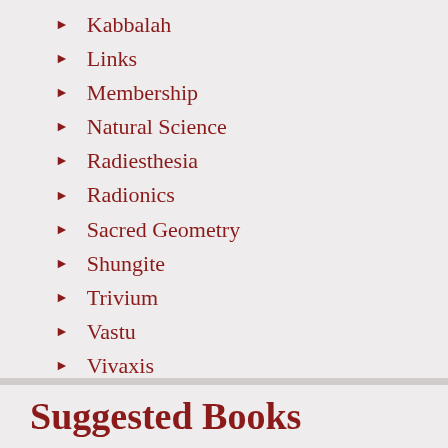Kabbalah
Links
Membership
Natural Science
Radiesthesia
Radionics
Sacred Geometry
Shungite
Trivium
Vastu
Vivaxis
Water
Classes
Events & Workshops
Suggested Books